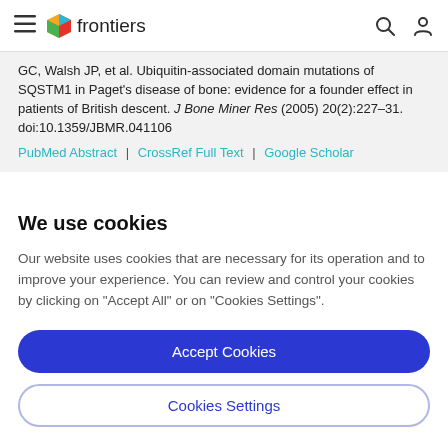frontiers
GC, Walsh JP, et al. Ubiquitin-associated domain mutations of SQSTM1 in Paget's disease of bone: evidence for a founder effect in patients of British descent. J Bone Miner Res (2005) 20(2):227–31. doi:10.1359/JBMR.041106
PubMed Abstract | CrossRef Full Text | Google Scholar
We use cookies
Our website uses cookies that are necessary for its operation and to improve your experience. You can review and control your cookies by clicking on "Accept All" or on "Cookies Settings".
Accept Cookies
Cookies Settings